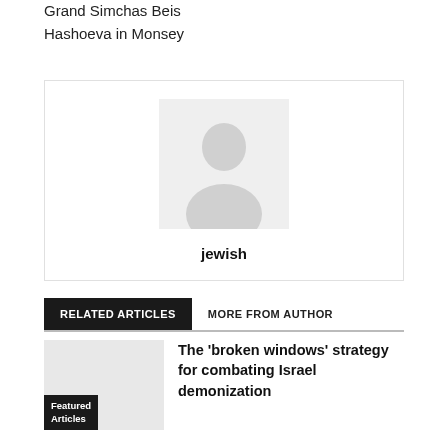Grand Simchas Beis Hashoeva in Monsey
[Figure (photo): Author avatar placeholder with default silhouette icon and name 'jewish' below]
RELATED ARTICLES
MORE FROM AUTHOR
The 'broken windows' strategy for combating Israel demonization
Featured Articles